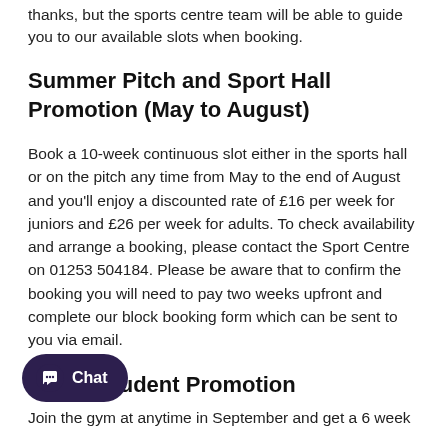thanks, but the sports centre team will be able to guide you to our available slots when booking.
Summer Pitch and Sport Hall Promotion (May to August)
Book a 10-week continuous slot either in the sports hall or on the pitch any time from May to the end of August and you'll enjoy a discounted rate of £16 per week for juniors and £26 per week for adults. To check availability and arrange a booking, please contact the Sport Centre on 01253 504184. Please be aware that to confirm the booking you will need to pay two weeks upfront and complete our block booking form which can be sent to you via email.
r 2022 Student Promotion
Join the gym at anytime in September and get a 6 week